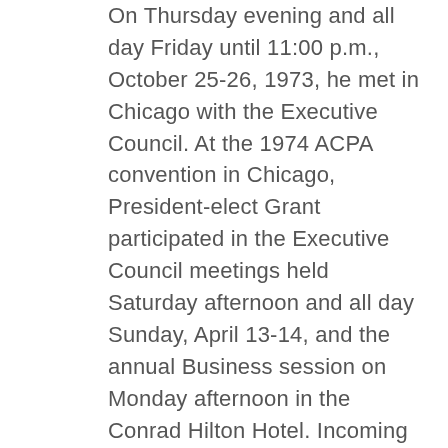On Thursday evening and all day Friday until 11:00 p.m., October 25-26, 1973, he met in Chicago with the Executive Council. At the 1974 ACPA convention in Chicago, President-elect Grant participated in the Executive Council meetings held Saturday afternoon and all day Sunday, April 13-14, and the annual Business session on Monday afternoon in the Conrad Hilton Hotel. Incoming President Grant presided at the Executive Council meeting Wednesday afternoon, April 17. The Executive Council members acted favorably to his request that a Media Committee be created to replace the Monograph Commission and the Commission Publications Board. President Grant and the Executive Council agreed on tentative plans to conduct mid-year meetings at New Orleans, where they met during September 3-5, 1974. Grant elaborated on the ACPA commitment to